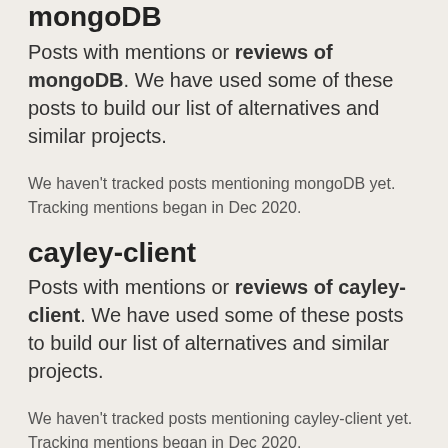mongoDB
Posts with mentions or reviews of mongoDB. We have used some of these posts to build our list of alternatives and similar projects.
We haven't tracked posts mentioning mongoDB yet. Tracking mentions began in Dec 2020.
cayley-client
Posts with mentions or reviews of cayley-client. We have used some of these posts to build our list of alternatives and similar projects.
We haven't tracked posts mentioning cayley-client yet. Tracking mentions began in Dec 2020.
What are some alternatives?
When we compare...